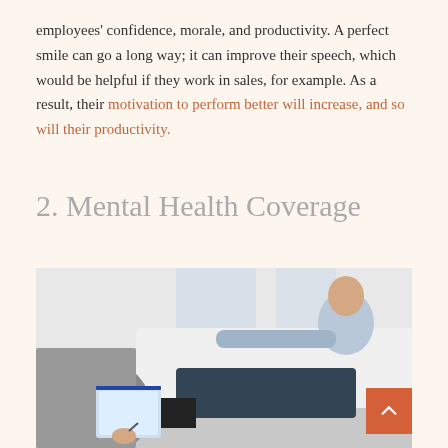employees' confidence, morale, and productivity. A perfect smile can go a long way; it can improve their speech, which would be helpful if they work in sales, for example. As a result, their motivation to perform better will increase, and so will their productivity.
2. Mental Health Coverage
[Figure (photo): A therapy session photo showing a person in a light blue sweater reclining on a couch while a therapist in grey holds a clipboard and takes notes.]